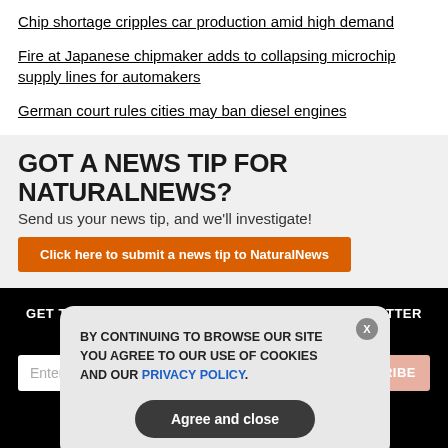Chip shortage cripples car production amid high demand
Fire at Japanese chipmaker adds to collapsing microchip supply lines for automakers
German court rules cities may ban diesel engines
[Figure (infographic): GOT A NEWS TIP FOR NATURALNEWS? Send us your news tip, and we'll investigate! Click here to submit a news tip to NaturalNews (orange button)]
[Figure (screenshot): Dark background newsletter signup section with cookie consent dialog overlay. Cookie dialog reads: BY CONTINUING TO BROWSE OUR SITE YOU AGREE TO OUR USE OF COOKIES AND OUR PRIVACY POLICY. With Agree and close button. Newsletter section says GET THE WORLD'S BEST NATURAL HEALTH NEWSLETTER DELIVERED STRAIGHT TO YOUR INBOX with email input and SUBSCRIBE button.]